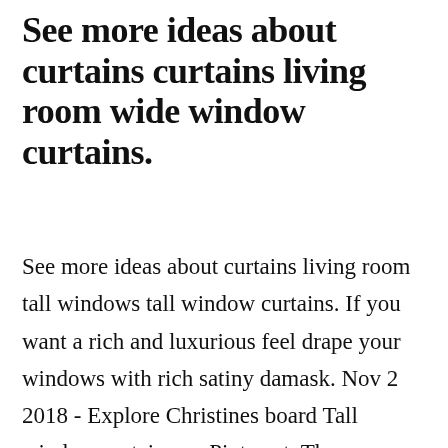See more ideas about curtains curtains living room wide window curtains.
See more ideas about curtains living room tall windows tall window curtains. If you want a rich and luxurious feel drape your windows with rich satiny damask. Nov 2 2018 - Explore Christines board Tall window curtains on Pinterest. They can make a room look larger add a pop of color and diffuse natural light. The outer layer has a darker color like [CLOSE X] while the inner